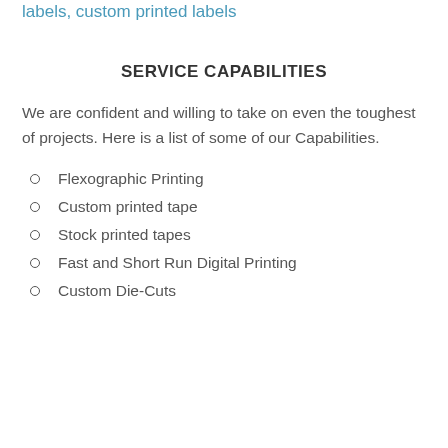labels, custom printed labels
SERVICE CAPABILITIES
We are confident and willing to take on even the toughest of projects. Here is a list of some of our Capabilities.
Flexographic Printing
Custom printed tape
Stock printed tapes
Fast and Short Run Digital Printing
Custom Die-Cuts